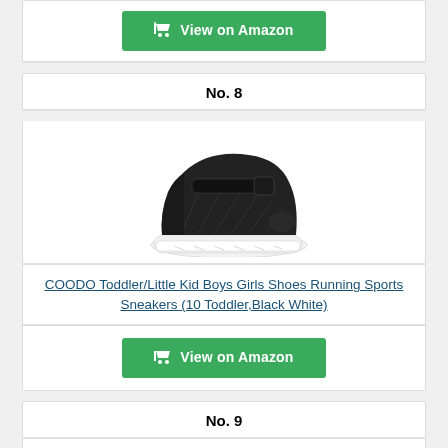[Figure (other): Green 'View on Amazon' button with shopping cart icon (partial card top)]
No. 8
[Figure (photo): Black and white COODO toddler/little kid running sports sneaker with velcro strap, knit upper, white sole]
COODO Toddler/Little Kid Boys Girls Shoes Running Sports Sneakers (10 Toddler,Black White)
[Figure (other): Green 'View on Amazon' button with shopping cart icon]
No. 9
[Figure (photo): Partial view of another shoe product (No. 9)]